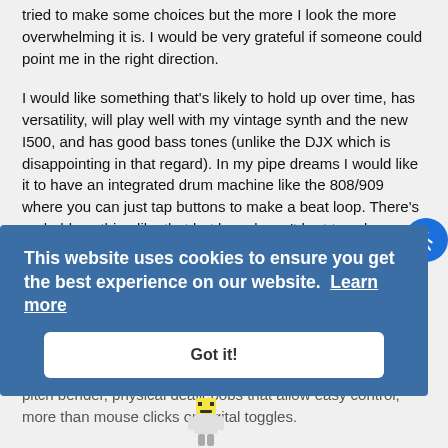tried to make some choices but the more I look the more overwhelming it is. I would be very grateful if someone could point me in the right direction.
I would like something that's likely to hold up over time, has versatility, will play well with my vintage synth and the new I500, and has good bass tones (unlike the DJX which is disappointing in that regard). In my pipe dreams I would like it to have an integrated drum machine like the 808/909 where you can just tap buttons to make a beat loop. There's probably nothing like that but hey, doesn't hurt to ask.
I would prefer to spend $1200 or less but it really depends on the machine. I'm not a person who seeks to impress others with a fancy expensive toy. I wouldn't know what's "cool" or "high
I do like twisty knobs and slidey slides, ribbon controller, pitch bender, physical dealiebobs that allow easy control, more than mouse clicks or digital toggles.
[Figure (screenshot): Cookie consent banner with blue background reading 'This website uses cookies to ensure you get the best experience on our website. Learn more' and a 'Got it!' button.]
[Figure (illustration): Small pixel art character image at the bottom of the page.]